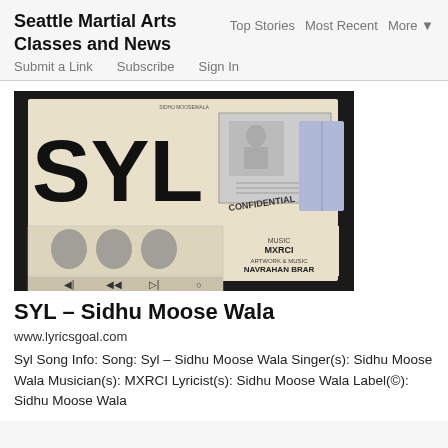Seattle Martial Arts Classes and News
Top Stories   Most Recent   More ▼
Submit a Link   Subscribe   Sign In
[Figure (photo): Album cover for SYL by Sidhu Moose Wala, cream/off-white background with large SYL text, confidential stamp, fingerprints, and artist credits including MXRCI and Navrahan Brar]
SYL – Sidhu Moose Wala
www.lyricsgoal.com
Syl Song Info: Song: Syl – Sidhu Moose Wala Singer(s): Sidhu Moose Wala Musician(s): MXRCI Lyricist(s): Sidhu Moose Wala Label(©): Sidhu Moose Wala